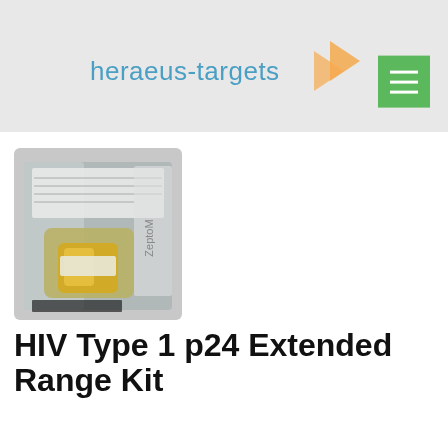heraeus-targets
[Figure (photo): A sealed plastic pouch labeled 'HIV-1 p24 Extended Range Kit' by ZeptoMetrix, containing a golden/yellow liquid vial inside.]
HIV Type 1 p24 Extended Range Kit
Specifications
Concentrated HIV-1 p24 Antigen Standard